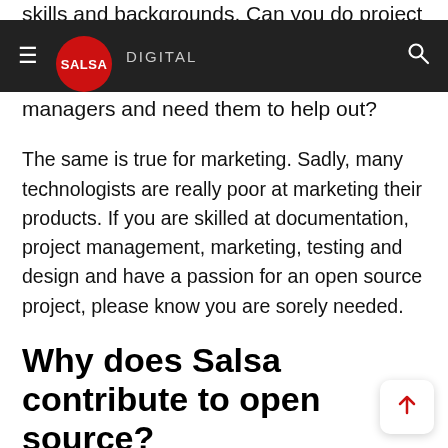skills and backgrounds. Can you do project
SALSA DIGITAL
managers and need them to help out?
The same is true for marketing. Sadly, many technologists are really poor at marketing their products. If you are skilled at documentation, project management, marketing, testing and design and have a passion for an open source project, please know you are sorely needed.
Why does Salsa contribute to open source?
First off, warm and fuzzies.
Seriously! Many people who contribute to open source do so because it makes them feel good.